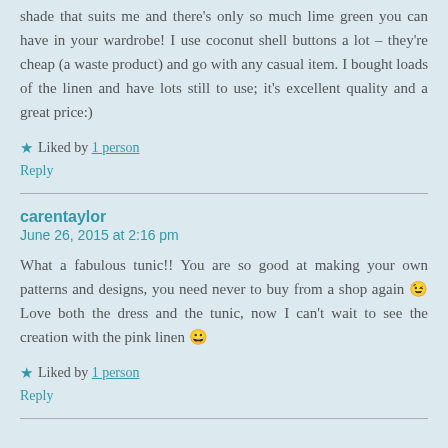shade that suits me and there's only so much lime green you can have in your wardrobe! I use coconut shell buttons a lot – they're cheap (a waste product) and go with any casual item. I bought loads of the linen and have lots still to use; it's excellent quality and a great price:)
★ Liked by 1 person
Reply
carentaylor
June 26, 2015 at 2:16 pm
What a fabulous tunic!! You are so good at making your own patterns and designs, you need never to buy from a shop again 😉 Love both the dress and the tunic, now I can't wait to see the creation with the pink linen 🙂
★ Liked by 1 person
Reply